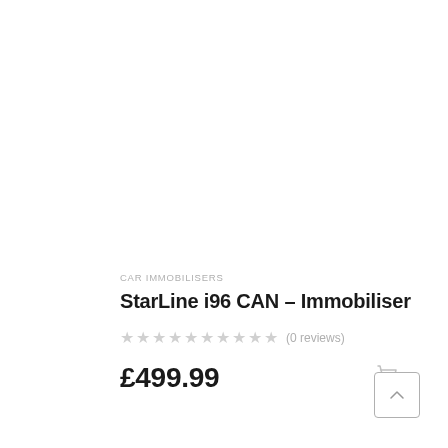CAR IMMOBILISERS
StarLine i96 CAN – Immobiliser
★★★★★★★★★★ (0 reviews)
£499.99